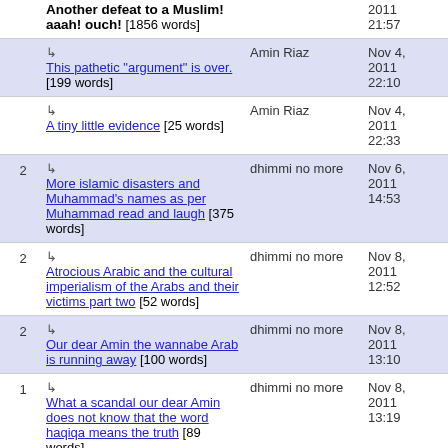Another defeat to a Muslim! aaah! ouch! [1856 words] — 2011 21:57
This pathetic "argument" is over. [199 words] — Amin Riaz — Nov 4, 2011 22:10
A tiny little evidence [25 words] — Amin Riaz — Nov 4, 2011 22:33
2 More islamic disasters and Muhammad's names as per Muhammad read and laugh [375 words] — dhimmi no more — Nov 6, 2011 14:53
2 Atrocious Arabic and the cultural imperialism of the Arabs and their victims part two [52 words] — dhimmi no more — Nov 8, 2011 12:52
2 Our dear Amin the wannabe Arab is running away [100 words] — dhimmi no more — Nov 8, 2011 13:10
1 What a scandal our dear Amin does not know that the word haqiqa means the truth [89 words] — dhimmi no more — Nov 8, 2011 13:19